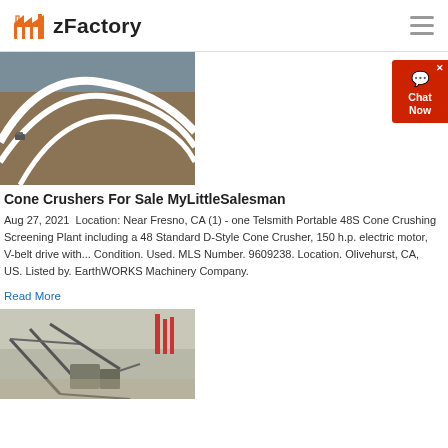zFactory
[Figure (photo): Aerial view of a large cone crusher or dome-shaped industrial structure with curved white steel arches over brick/stone surface, with a small vehicle visible]
Cone Crushers For Sale MyLittleSalesman
Aug 27, 2021  Location: Near Fresno, CA (1) - one Telsmith Portable 48S Cone Crushing Screening Plant including a 48 Standard D-Style Cone Crusher, 150 h.p. electric motor, V-belt drive with... Condition. Used. MLS Number. 9609238. Location. Olivehurst, CA, US. Listed by. EarthWORKS Machinery Company.
Read More
[Figure (photo): Industrial site with large metal framework structures and machinery, smokestacks visible in background, possibly a mining or crushing plant]